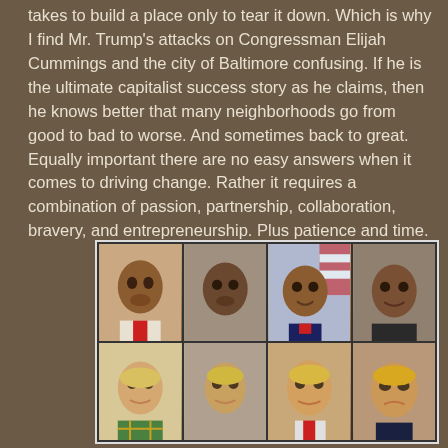takes to build a place only to tear it down. Which is why I find Mr. Trump's attacks on Congressman Elijah Cummings and the city of Baltimore confusing. If he is the ultimate capitalist success story as he claims, then he knows better that many neighborhoods go from good to bad to worse. And sometimes back to great. Equally important there are no easy answers when it comes to driving change. Rather it requires a combination of passion, partnership, collaboration, bravery, and entrepreneurship. Plus patience and time.
[Figure (photo): A 2x4 collage of photos. Top row: four photos showing Elijah Cummings at different ages (as a child, young adult, middle-aged, and elderly). Bottom row: four photos showing Donald Trump at different ages (as a toddler, young man, middle-aged, and elderly).]